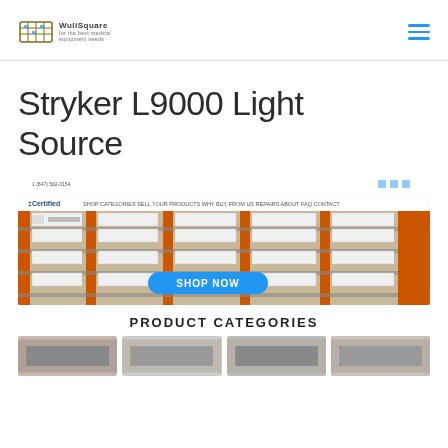WuliSquare logo and hamburger menu navigation
Stryker L9000 Light Source
[Figure (screenshot): Screenshot of a medical equipment retailer website showing warehouse shelves stocked with medical devices, with a 'SHOP NOW' button overlay. The site header shows 'Certified' branding with navigation links.]
PRODUCT CATEGORIES
[Figure (photo): Row of product category thumbnail images partially visible at the bottom of the page.]